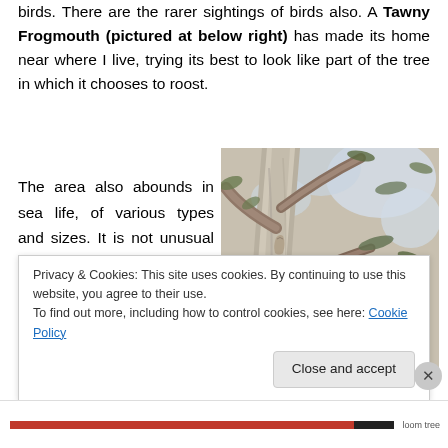birds. There are the rarer sightings of birds also. A Tawny Frogmouth (pictured at below right) has made its home near where I live, trying its best to look like part of the tree in which it chooses to roost.
The area also abounds in sea life, of various types and sizes. It is not unusual to have Humpback Whales sighted of the coast here
[Figure (photo): Photo looking up through a eucalyptus tree trunk with grey-white bark and branches with green leaves visible against the sky. A tawny frogmouth bird is camouflaged against the bark.]
Privacy & Cookies: This site uses cookies. By continuing to use this website, you agree to their use.
To find out more, including how to control cookies, see here: Cookie Policy